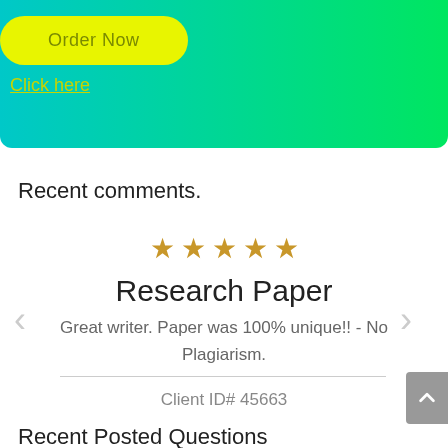[Figure (other): Green gradient banner with yellow 'Order Now' button and 'Click here' link text]
Recent comments.
[Figure (infographic): Five gold star rating icons displayed in a row]
Research Paper
Great writer. Paper was 100% unique!! - No Plagiarism.
Client ID# 45663
Recent Posted Questions